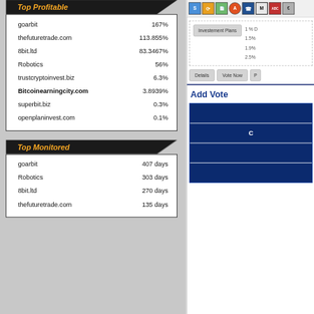Top Profitable
| Site | Return |
| --- | --- |
| goarbit | 167% |
| thefuturetrade.com | 113.855% |
| 8bit.ltd | 83.3467% |
| Robotics | 56% |
| trustcryptoinvest.biz | 6.3% |
| Bitcoinearningcity.com | 3.8939% |
| superbit.biz | 0.3% |
| openplaninvest.com | 0.1% |
Top Monitored
| Site | Duration |
| --- | --- |
| goarbit | 407 days |
| Robotics | 303 days |
| 8bit.ltd | 270 days |
| thefuturetrade.com | 135 days |
[Figure (screenshot): Right panel showing browser icons, Investment Plans button with rates 1% D, 1.5%, 1.9%, 2.5%, Details and Vote Now buttons, Add Vote heading, and blue advertisement blocks]
Add Vote